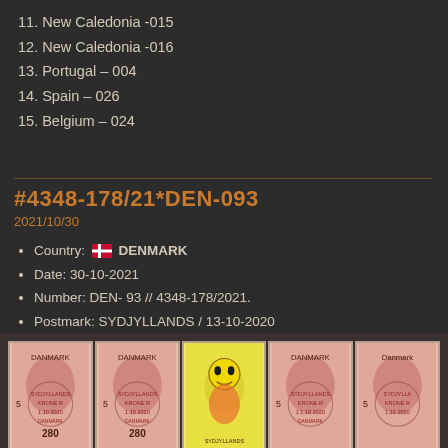11. New Caledonia -015
12. New Caledonia -016
13. Portugal – 004
14. Spain – 026
15. Belgium – 024
#4348-178/21*DEN-093
2021/10/30
Country: 🇩🇰 DENMARK
Date: 30-10-2021
Number:  DEN- 93 // 4348-178/2021.
Postmark: SYDJYLLANDS / 13-10-2020
Thanks to: 🇩🇰 Hans for nice cover and 15 maxicards
[Figure (photo): Row of Danish stamps with SYDJYLLANDS postmarks and an illustrated card showing a stylized character]